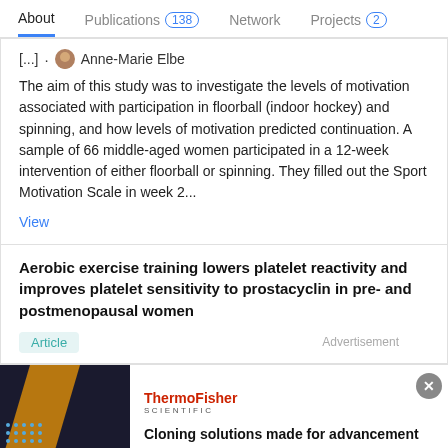About  Publications 138  Network  Projects 2
[...] · Anne-Marie Elbe
The aim of this study was to investigate the levels of motivation associated with participation in floorball (indoor hockey) and spinning, and how levels of motivation predicted continuation. A sample of 66 middle-aged women participated in a 12-week intervention of either floorball or spinning. They filled out the Sport Motivation Scale in week 2...
View
Aerobic exercise training lowers platelet reactivity and improves platelet sensitivity to prostacyclin in pre- and postmenopausal women
Article
Advertisement
[Figure (photo): Advertisement image with dark background showing cloning graphic with blue dots and yellow diagonal stripe, ThermoFisher Scientific logo, and text: Cloning solutions made for advancement]